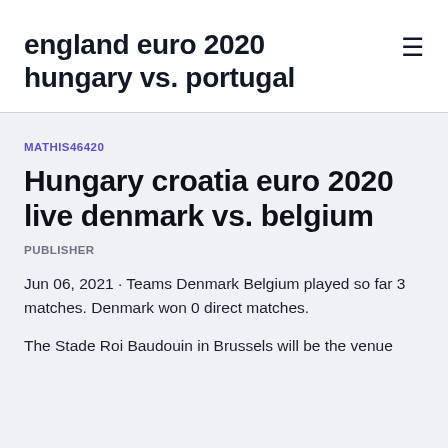england euro 2020 hungary vs. portugal
MATHIS46420
Hungary croatia euro 2020 live denmark vs. belgium
PUBLISHER
Jun 06, 2021 · Teams Denmark Belgium played so far 3 matches. Denmark won 0 direct matches.
The Stade Roi Baudouin in Brussels will be the venue